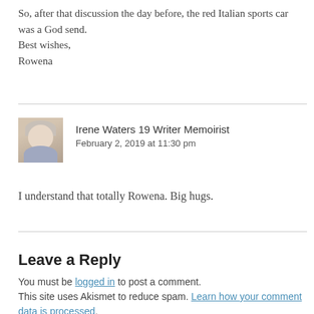So, after that discussion the day before, the red Italian sports car was a God send.
Best wishes,
Rowena
[Figure (photo): Avatar photo of Irene Waters, an older woman with light curly hair]
Irene Waters 19 Writer Memoirist
February 2, 2019 at 11:30 pm
I understand that totally Rowena. Big hugs.
Leave a Reply
You must be logged in to post a comment.
This site uses Akismet to reduce spam. Learn how your comment data is processed.